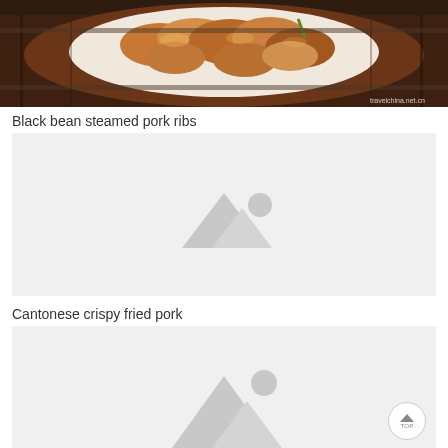[Figure (photo): Photo of black bean steamed pork ribs in a wooden bamboo steamer basket, showing glistening pieces of pork ribs on a white plate. Watermark reads travelchina.net.cn]
Black bean steamed pork ribs
[Figure (photo): Placeholder image box with grey mountain/landscape icon for Cantonese crispy fried pork]
Cantonese crispy fried pork
[Figure (photo): Placeholder image box with grey mountain/landscape icon, partially visible at bottom of page]